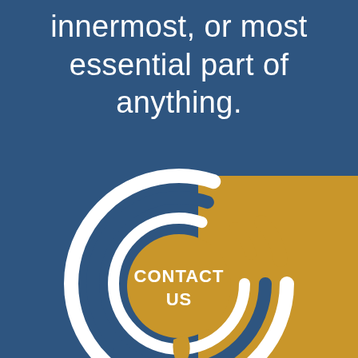innermost, or most essential part of anything.
[Figure (illustration): Circular target/contact icon with concentric ring arcs in white and navy on blue/gold background, with a speech bubble circle in the center containing the text CONTACT US]